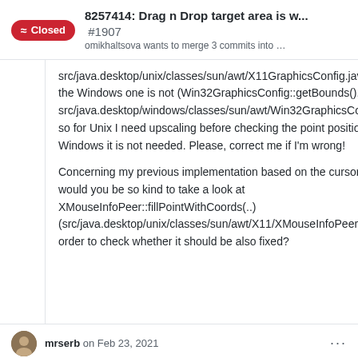8257414: Drag n Drop target area is w... #1907 omikhaltsova wants to merge 3 commits into …
src/java.desktop/unix/classes/sun/awt/X11GraphicsConfig.java) and the Windows one is not (Win32GraphicsConfig::getBounds(), src/java.desktop/windows/classes/sun/awt/Win32GraphicsConfig.java); so for Unix I need upscaling before checking the point position but for Windows it is not needed. Please, correct me if I'm wrong!

Concerning my previous implementation based on the cursor position, would you be so kind to take a look at XMouseInfoPeer::fillPointWithCoords(..) (src/java.desktop/unix/classes/sun/awt/X11/XMouseInfoPeer.java) in order to check whether it should be also fixed?
mrserb on Feb 23, 2021